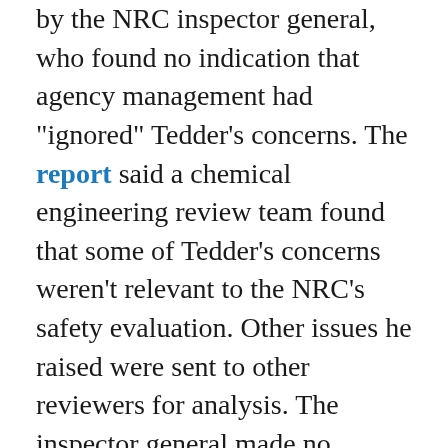by the NRC inspector general, who found no indication that agency management had "ignored" Tedder's concerns. The report said a chemical engineering review team found that some of Tedder's concerns weren't relevant to the NRC's safety evaluation. Other issues he raised were sent to other reviewers for analysis. The inspector general made no recommendations for corrective actions.
Tedder told ProPublica that when he met with the inspectors at a Starbucks near his home, they told him they would be investigating only whether the NRC was following its procedures, not the merit of his concerns.
The NRC's jurisdiction, he noted, is narrow. The